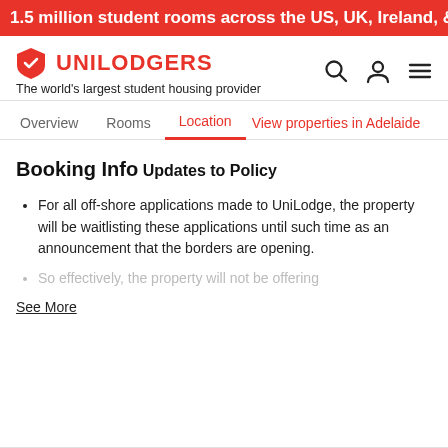1.5 million student rooms across the US, UK, Ireland, & Australia
[Figure (logo): Unilodgers shield logo in red with text UNILODGERS in red, search icon, user icon, and hamburger menu icon]
The world's largest student housing provider
Overview  Rooms  Location  View properties in Adelaide
Booking Info
Updates to Policy
For all off-shore applications made to UniLodge, the property will be waitlisting these applications until such time as an announcement that the borders are opening.
So effectively, the property will not be offering
See More